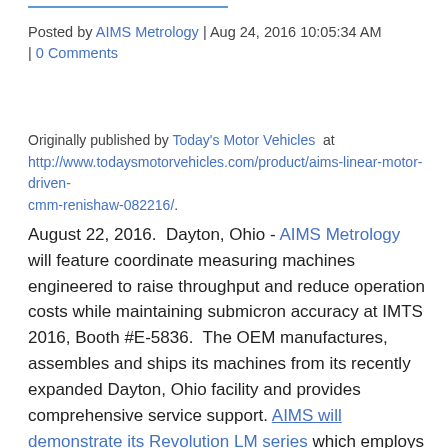Posted by AIMS Metrology | Aug 24, 2016 10:05:34 AM | 0 Comments
Originally published by Today's Motor Vehicles at http://www.todaysmotorvehicles.com/product/aims-linear-motor-driven-cmm-renishaw-082216/.
August 22, 2016. Dayton, Ohio - AIMS Metrology will feature coordinate measuring machines engineered to raise throughput and reduce operation costs while maintaining submicron accuracy at IMTS 2016, Booth #E-5836. The OEM manufactures, assembles and ships its machines from its recently expanded Dayton, Ohio facility and provides comprehensive service support. AIMS will demonstrate its Revolution LM series which employs linear motors with a Renishaw REVO 5-axis scanning system. AIMS also recently introduced its